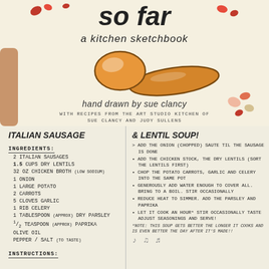[Figure (photo): Cover of a hand-drawn kitchen sketchbook cookbook showing the title 'so far - a kitchen sketchbook', hand drawn by Sue Clancy, with recipes from the Art Studio Kitchen of Sue Clancy and Judy Sullens. Features an illustrated wooden spoon and scattered beans/lentils.]
ITALIAN SAUSAGE & LENTIL SOUP!
INGREDIENTS:
2 ITALIAN SAUSAGES
1.5 CUPS DRY LENTILS
32 OZ CHICKEN BROTH (low sodium)
1 ONION
1 LARGE POTATO
2 CARROTS
5 CLOVES GARLIC
1 RIB CELERY
1 TABLESPOON (APPROX) DRY PARSLEY
1/2 TEASPOON (APPROX) PAPRIKA
OLIVE OIL
PEPPER / SALT (TO TASTE)
INSTRUCTIONS:
> ADD THE ONION (CHOPPED) SAUTE TIL THE SAUSAGE IS DONE
• ADD THE CHICKEN STOCK, THE DRY LENTILS (SORT THE LENTILS FIRST)
• CHOP THE POTATO CARROTS, GARLIC AND CELERY INTO THE SAME POT
• GENEROUSLY ADD WATER ENOUGH TO COVER ALL. BRING TO A BOIL. STIR OCCASIONALLY
• REDUCE HEAT TO SIMMER. ADD THE PARSLEY AND PAPRIKA
• LET IT COOK AN HOUR* STIR OCCASIONALLY TASTE ADJUST SEASONINGS AND SERVE!
*NOTE: THIS SOUP GETS BETTER THE LONGER IT COOKS AND IS EVEN BETTER THE DAY AFTER IT'S MADE!!